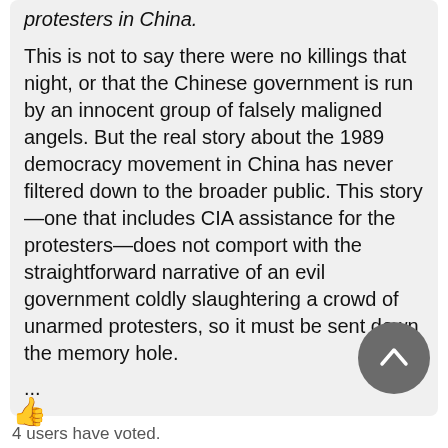protesters in China.

This is not to say there were no killings that night, or that the Chinese government is run by an innocent group of falsely maligned angels. But the real story about the 1989 democracy movement in China has never filtered down to the broader public. This story—one that includes CIA assistance for the protesters—does not comport with the straightforward narrative of an evil government coldly slaughtering a crowd of unarmed protesters, so it must be sent down the memory hole.

...
4 users have voted.